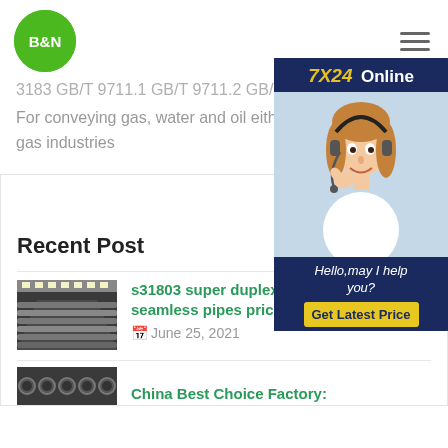[Figure (logo): B&N green circular logo]
3183 GB/T 9711.1 GB/T 9711.2 GB/T
For conveying gas, water and oil either natural gas industries
[Figure (photo): 7X24 Online customer service widget with headset-wearing woman, Hello may I help you? and Get Latest Price button]
Recent Post
[Figure (photo): Thumbnail of steel pipes in a warehouse]
s31803 super duplex stainless steel seamless pipes price
June 25, 2021
[Figure (photo): Thumbnail of steel pipes]
China Best Choice Factory: